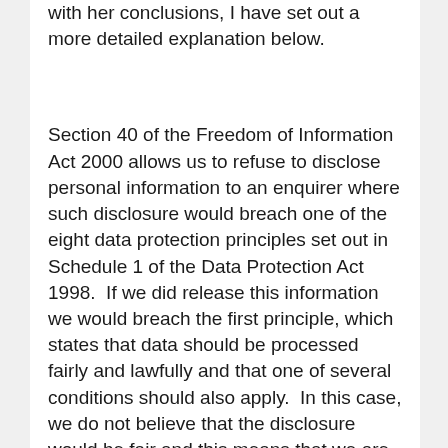with her conclusions, I have set out a more detailed explanation below.
Section 40 of the Freedom of Information Act 2000 allows us to refuse to disclose personal information to an enquirer where such disclosure would breach one of the eight data protection principles set out in Schedule 1 of the Data Protection Act 1998.  If we did release this information we would breach the first principle, which states that data should be processed fairly and lawfully and that one of several conditions should also apply.  In this case, we do not believe that the disclosure would be fair and this means that we are obliged to refuse the